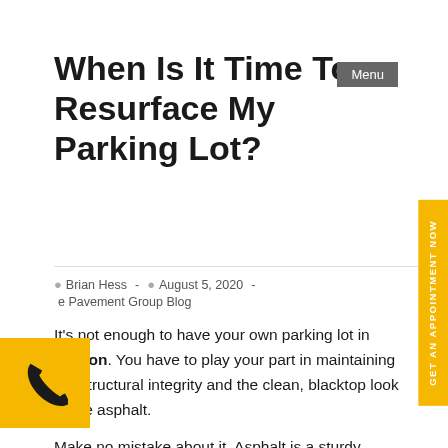When Is It Time To Resurface My Parking Lot?
Brian Hess  -  August 5, 2020  -  e Pavement Group Blog
It's not enough to have your own parking lot in Boston. You have to play your part in maintaining the structural integrity and the clean, blacktop look of the asphalt.
Make no mistake about it. Asphalt is a sturdy material and can last for many years. But this requires timely and proper maintenance.